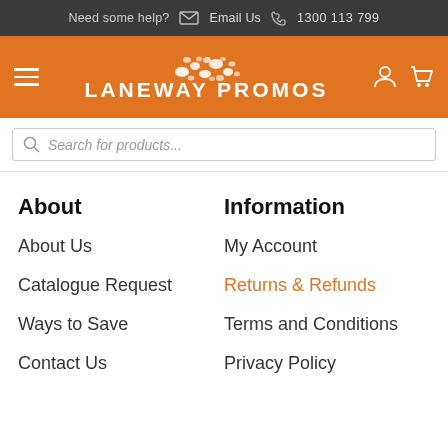Need some help? Email Us 1300 113 799
[Figure (logo): Laneway Promos logo with orange background, hamburger menu icon, decorative dots above text, user and cart icons]
Search for products...
About
About Us
Catalogue Request
Ways to Save
Contact Us
Information
My Account
Returns & Refunds
Terms and Conditions
Privacy Policy